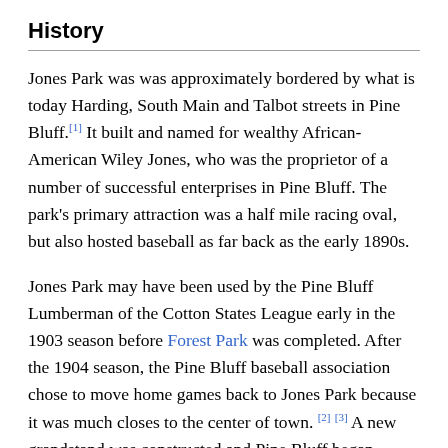History
Jones Park was was approximately bordered by what is today Harding, South Main and Talbot streets in Pine Bluff.[1] It built and named for wealthy African-American Wiley Jones, who was the proprietor of a number of successful enterprises in Pine Bluff. The park's primary attraction was a half mile racing oval, but also hosted baseball as far back as the early 1890s.
Jones Park may have been used by the Pine Bluff Lumberman of the Cotton States League early in the 1903 season before Forest Park was completed. After the 1904 season, the Pine Bluff baseball association chose to move home games back to Jones Park because it was much closes to the center of town. [2] [3] A new grandstand was constructed and Pine Bluff began playing at Jones Park in May of 1905.[4] The following season, the Pine Bluff